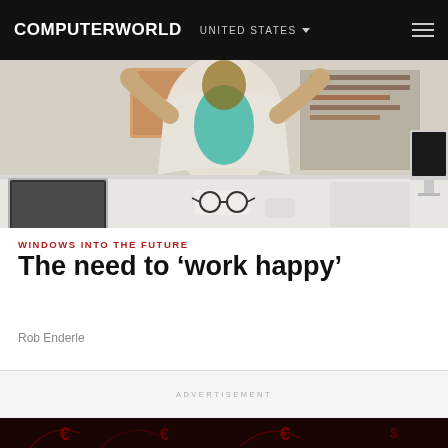COMPUTERWORLD   UNITED STATES
[Figure (photo): Woman in white blazer and teal top sitting at a desk in meditation pose, with a laptop on the left, glasses on the desk, and an iMac monitor on the right. Office bookshelf visible in background.]
WINDOWS INTO THE FUTURE
The need to ‘work happy’
Rob Enderle
ADVERTISEMENT